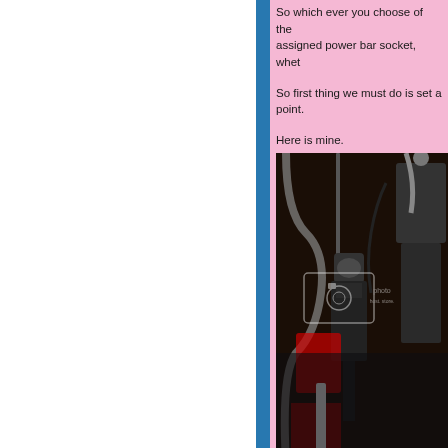So which ever you choose of the assigned power bar socket, whet...
So first thing we must do is set a point.
Here is mine.
[Figure (photo): Photo of aquarium equipment including what appears to be a protein skimmer or pump assembly with tubing, connectors and cables, with a photobucket watermark overlay]